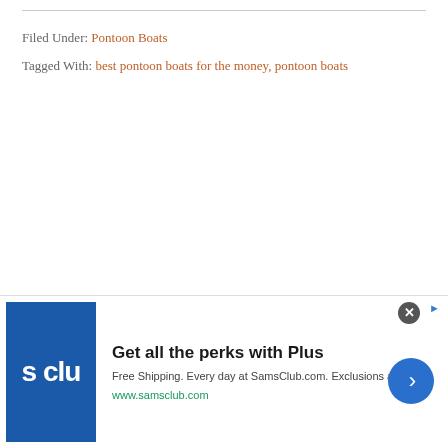Filed Under: Pontoon Boats
Tagged With: best pontoon boats for the money, pontoon boats
[Figure (other): Sam's Club advertisement banner. Blue square logo with 's clu' text visible. Headline: 'Get all the perks with Plus'. Subtext: 'Free Shipping. Every day at SamsClub.com. Exclusions apply.' URL: www.samsclub.com. Blue circular arrow button on right. Close (X) button top right.]